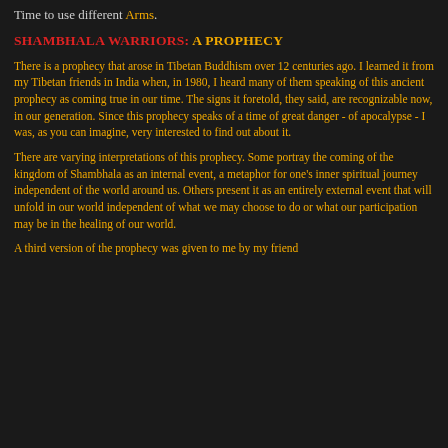Time to use different Arms.
SHAMBHALA WARRIORS: A PROPHECY
There is a prophecy that arose in Tibetan Buddhism over 12 centuries ago. I learned it from my Tibetan friends in India when, in 1980, I heard many of them speaking of this ancient prophecy as coming true in our time. The signs it foretold, they said, are recognizable now, in our generation. Since this prophecy speaks of a time of great danger - of apocalypse - I was, as you can imagine, very interested to find out about it.
There are varying interpretations of this prophecy. Some portray the coming of the kingdom of Shambhala as an internal event, a metaphor for one's inner spiritual journey independent of the world around us. Others present it as an entirely external event that will unfold in our world independent of what we may choose to do or what our participation may be in the healing of our world.
A third version of the prophecy was given to me by my friend